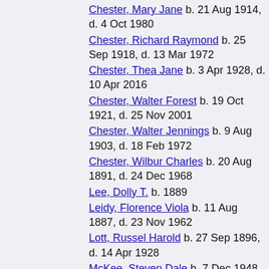Chester, Mary Jane  b. 21 Aug 1914, d. 4 Oct 1980
Chester, Richard Raymond  b. 25 Sep 1918, d. 13 Mar 1972
Chester, Thea Jane  b. 3 Apr 1928, d. 10 Apr 2016
Chester, Walter Forest  b. 19 Oct 1921, d. 25 Nov 2001
Chester, Walter Jennings  b. 9 Aug 1903, d. 18 Feb 1972
Chester, Wilbur Charles  b. 20 Aug 1891, d. 24 Dec 1968
Lee, Dolly T.  b. 1889
Leidy, Florence Viola  b. 11 Aug 1887, d. 23 Nov 1962
Lott, Russel Harold  b. 27 Sep 1896, d. 14 Apr 1928
McKee, Steven Dale  b. 7 Dec 1948, d. 27 Mar 2020
Newson, Thomas M.  b. 13 Sep 1851, d. 16 Jul 1920
Null, Sarah A  b. 23 Dec 1829, d. 17 Dec 1911
Parkhurst, Mary Letisha  b. 2 Jun 1831, d. 21 Sep 1924